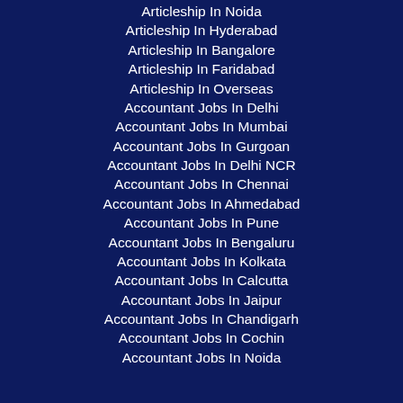Articleship In Noida
Articleship In Hyderabad
Articleship In Bangalore
Articleship In Faridabad
Articleship In Overseas
Accountant Jobs In Delhi
Accountant Jobs In Mumbai
Accountant Jobs In Gurgoan
Accountant Jobs In Delhi NCR
Accountant Jobs In Chennai
Accountant Jobs In Ahmedabad
Accountant Jobs In Pune
Accountant Jobs In Bengaluru
Accountant Jobs In Kolkata
Accountant Jobs In Calcutta
Accountant Jobs In Jaipur
Accountant Jobs In Chandigarh
Accountant Jobs In Cochin
Accountant Jobs In Noida